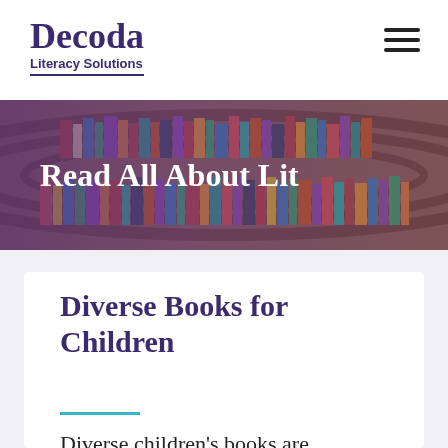Decoda Literacy Solutions
[Figure (photo): Library shelves with curved rows of colorful books, with a purple overlay tint]
Read All About Lit
Diverse Books for Children
Diverse children's books are